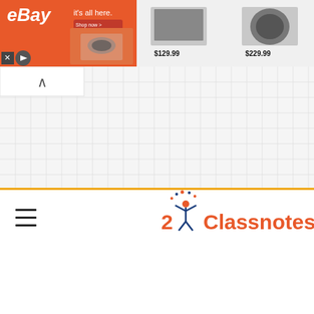[Figure (screenshot): eBay advertisement banner with orange background showing VR headset in box on left side, and product images (laptop at $129.99, robot vacuum at $229.99) on right side with controls]
[Figure (logo): 2 Classnotes logo with orange figure and text, hamburger menu icon on the left]
[Figure (screenshot): Tile/checkerboard patterned header background area of a website]